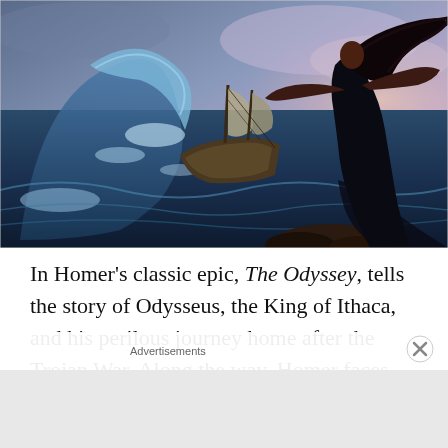[Figure (illustration): Fantasy illustration depicting a dark-haired woman in a long black dress standing on rocks with arms outstretched toward a stormy sea, where a sailing ship is being tossed by massive waves under a dramatic sky.]
In Homer's classic epic, The Odyssey, tells the story of Odysseus, the King of Ithaca, and his perilous journey home after the Trojan War. Along the way, Homer faces
Advertisements